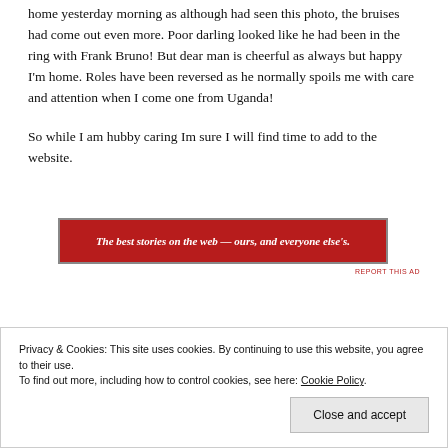home yesterday morning as although had seen this photo, the bruises had come out even more. Poor darling looked like he had been in the ring with Frank Bruno! But dear man is cheerful as always but happy I'm home. Roles have been reversed as he normally spoils me with care and attention when I come one from Uganda!
So while I am hubby caring Im sure I will find time to add to the website.
[Figure (infographic): Red banner advertisement with text: The best stories on the web — ours, and everyone else's.]
REPORT THIS AD
Privacy & Cookies: This site uses cookies. By continuing to use this website, you agree to their use.
To find out more, including how to control cookies, see here: Cookie Policy